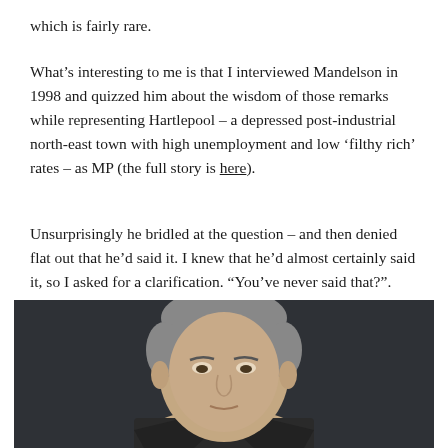which is fairly rare.
What’s interesting to me is that I interviewed Mandelson in 1998 and quizzed him about the wisdom of those remarks while representing Hartlepool – a depressed post-industrial north-east town with high unemployment and low ‘filthy rich’ rates – as MP (the full story is here).
Unsurprisingly he bridled at the question – and then denied flat out that he’d said it. I knew that he’d almost certainly said it, so I asked for a clarification. “You’ve never said that?”.
“No. Next question.”
[Figure (photo): Black and white photograph of a man (Peter Mandelson) from the shoulders up, wearing a suit, with greying hair, looking slightly upward against a dark background.]